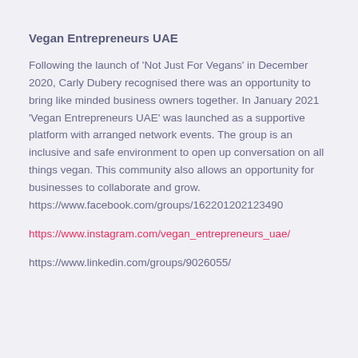Vegan Entrepreneurs UAE
Following the launch of 'Not Just For Vegans' in December 2020, Carly Dubery recognised there was an opportunity to bring like minded business owners together. In January 2021 'Vegan Entrepreneurs UAE' was launched as a supportive platform with arranged network events. The group is an inclusive and safe environment to open up conversation on all things vegan. This community also allows an opportunity for businesses to collaborate and grow.
https://www.facebook.com/groups/162201202123490
https://www.instagram.com/vegan_entrepreneurs_uae/
https://www.linkedin.com/groups/9026055/